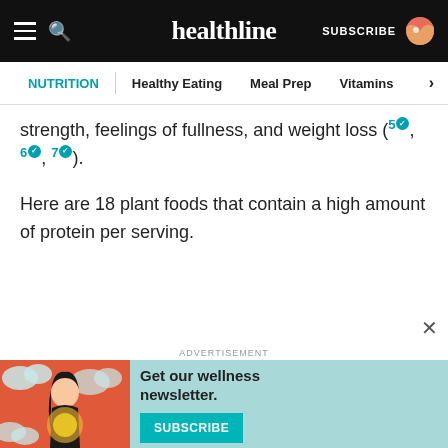healthline — SUBSCRIBE
NUTRITION | Healthy Eating | Meal Prep | Vitamins
strength, feelings of fullness, and weight loss (5, 6, 7).
Here are 18 plant foods that contain a high amount of protein per serving.
[Figure (illustration): Advertisement banner with illustrated woman and teal background. Text: 'Get our wellness newsletter.' with SUBSCRIBE button.]